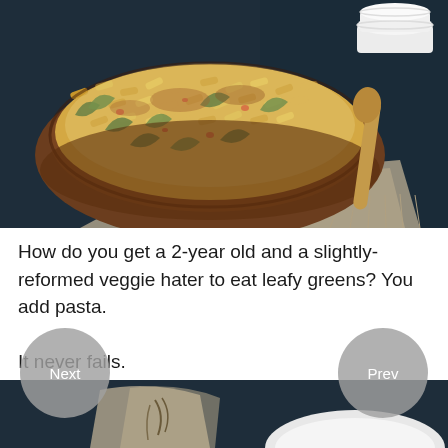[Figure (photo): A baked pasta dish in a large brown ceramic bowl topped with melted cheese, green leafy vegetables (kale/spinach), and red pepper flakes. A wooden spoon and stacked white bowls are visible in the background on a dark blue surface with a linen cloth.]
How do you get a 2-year old and a slightly-reformed veggie hater to eat leafy greens? You add pasta.
It never fails.
[Figure (photo): Partial view of a food photograph showing a dark navy blue wooden surface with a white linen cloth and the edge of a white plate or bowl.]